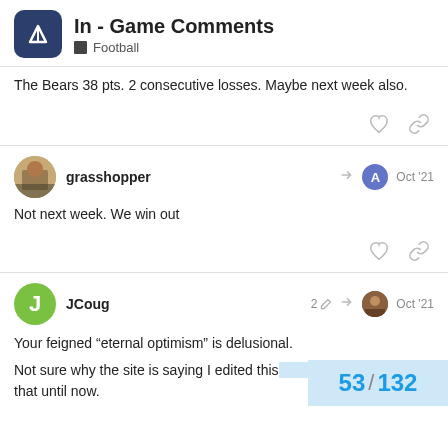In - Game Comments | Football
The Bears 38 pts. 2 consecutive losses. Maybe next week also.
grasshopper — Oct '21
Not next week. We win out
JCoug — 2 edits — Oct '21
Your feigned “eternal optimism” is delusional.

Not sure why the site is saying I edited this that until now.
53 / 132